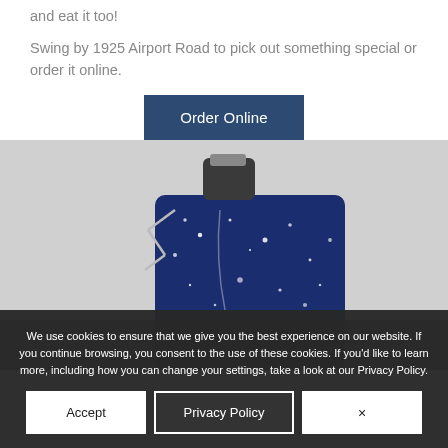and eat it too!
Swing by 1925 Airport Road to pick out something special or order it online.
[Figure (other): Button reading 'Order Online' with dark navy blue background and white text]
[Figure (photo): Product photo of a blue speckled metal flask with black/silver cap and lanyard, shown on a dark background]
We use cookies to ensure that we give you the best experience on our website. If you continue browsing, you consent to the use of these cookies. If you'd like to learn more, including how you can change your settings, take a look at our Privacy Policy.
[Figure (other): Three buttons: Accept (white), Privacy Policy (dark with white border), and x (white close button)]